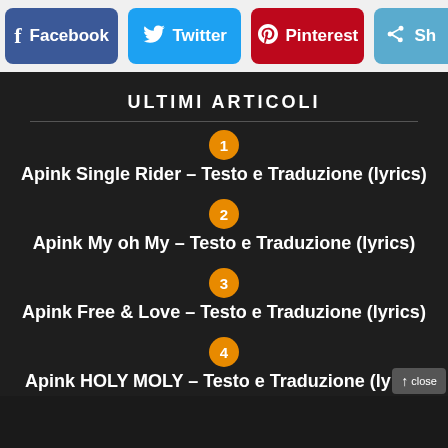[Figure (screenshot): Social share buttons row: Facebook (blue), Twitter (light blue), Pinterest (red), Share (light blue, partially cut off)]
ULTIMI ARTICOLI
Apink Single Rider – Testo e Traduzione (lyrics)
Apink My oh My – Testo e Traduzione (lyrics)
Apink Free & Love – Testo e Traduzione (lyrics)
Apink HOLY MOLY – Testo e Traduzione (lyrics)